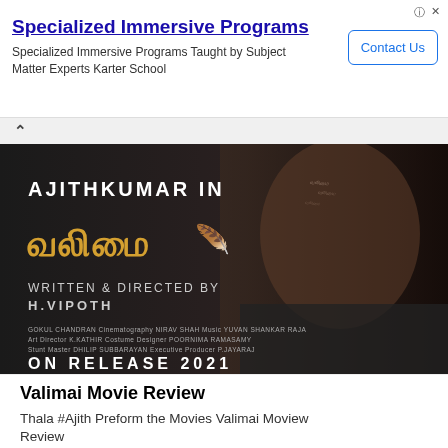[Figure (infographic): Advertisement banner for Specialized Immersive Programs by Karter School with Contact Us button]
Specialized Immersive Programs
Specialized Immersive Programs Taught by Subject Matter Experts Karter School
[Figure (photo): Valimai Tamil movie promotional poster featuring Ajithkumar. Text reads: AJITHKUMAR IN, [Tamil title Valimai with wings], WRITTEN & DIRECTED BY H.VIPOTH, crew credits including GOKUL CHANDRAN, NIRAV SHAH, YUVAN SHANKAR RAJA, K.KATHIR, POORNIMA RAMASAMY, DHILIP SUBBARAYAN, P.JAYARAJ, ON RELEASE 2021]
Valimai Movie Review
Thala #Ajith Preform the Movies Valimai Moview Review
Comment